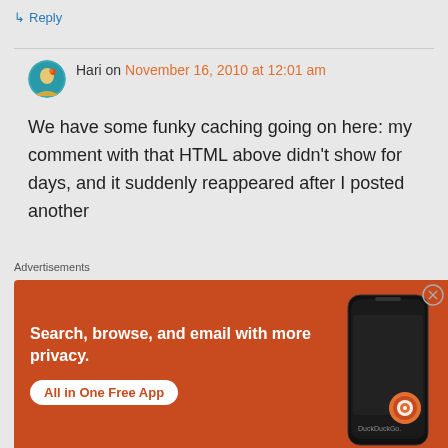↳ Reply
Hari on November 16, 2010 at 12:01 am
We have some funky caching going on here: my comment with that HTML above didn't show for days, and it suddenly reappeared after I posted another
Advertisements
[Figure (photo): DuckDuckGo advertisement banner with orange background: 'Search, browse, and email with more privacy. All in One Free App' with DuckDuckGo logo and phone image]